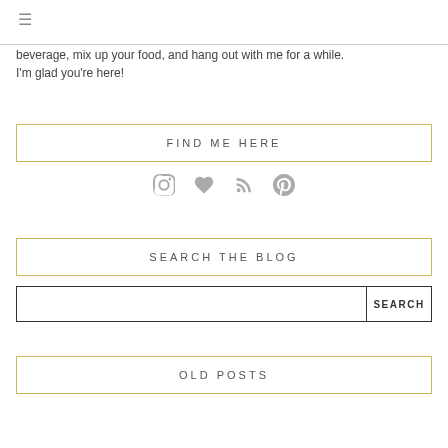beverage, mix up your food, and hang out with me for a while. I'm glad you're here!
FIND ME HERE
[Figure (infographic): Row of social media icons: Instagram camera icon, heart icon, RSS feed icon, Pinterest icon]
SEARCH THE BLOG
SEARCH
OLD POSTS